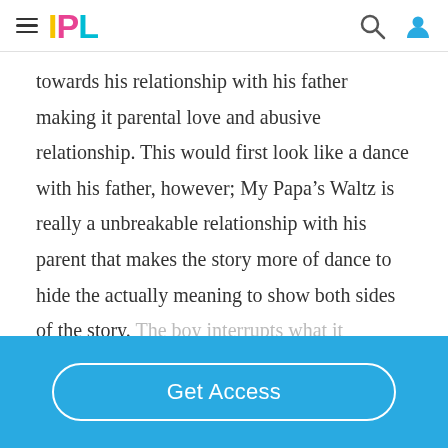IPL
towards his relationship with his father making it parental love and abusive relationship. This would first look like a dance with his father, however; My Papa’s Waltz is really a unbreakable relationship with his parent that makes the story more of dance to hide the actually meaning to show both sides of the story. The boy interrupts what it
Get Access